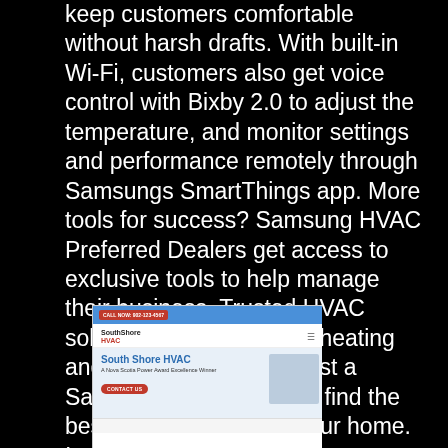keep customers comfortable without harsh drafts. With built-in Wi-Fi, customers also get voice control with Bixby 2.0 to adjust the temperature, and monitor settings and performance remotely through Samsungs SmartThings app. More tools for success? Samsung HVAC Preferred Dealers get access to exclusive tools to help manage their business. Trusted HVAC solutions. For innovative heating and cooling solutions, trust a Samsung professional to find the best HVAC system for your home. Innovation is in the air.
[Figure (screenshot): Screenshot of South Shore HVAC website showing the header with logo, navigation, and hero section with title 'South Shore HVAC', subtitle 'A Nova Scotia Power Award Excellence Winner', and a 'Contact Us' button.]